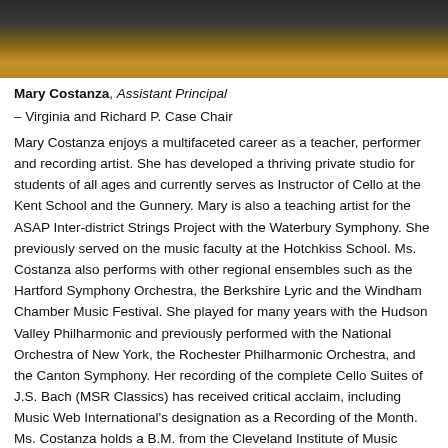[Figure (photo): Partial photo of a cello instrument, showing the body and bow, dark background]
Mary Costanza, Assistant Principal
– Virginia and Richard P. Case Chair
Mary Costanza enjoys a multifaceted career as a teacher, performer and recording artist. She has developed a thriving private studio for students of all ages and currently serves as Instructor of Cello at the Kent School and the Gunnery. Mary is also a teaching artist for the ASAP Inter-district Strings Project with the Waterbury Symphony. She previously served on the music faculty at the Hotchkiss School. Ms. Costanza also performs with other regional ensembles such as the Hartford Symphony Orchestra, the Berkshire Lyric and the Windham Chamber Music Festival. She played for many years with the Hudson Valley Philharmonic and previously performed with the National Orchestra of New York, the Rochester Philharmonic Orchestra, and the Canton Symphony. Her recording of the complete Cello Suites of J.S. Bach (MSR Classics) has received critical acclaim, including Music Web International's designation as a Recording of the Month. Ms. Costanza holds a B.M. from the Cleveland Institute of Music (Case Western Reserve) and a M.M. from the Juilliard School.